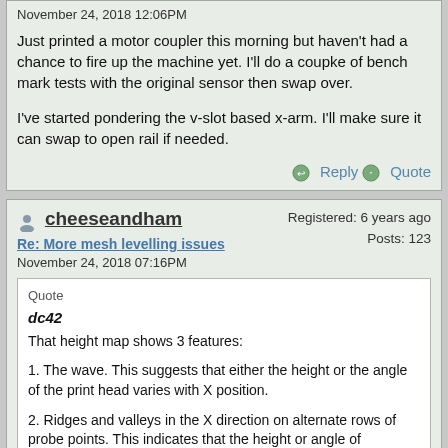November 24, 2018 12:06PM
Just printed a motor coupler this morning but haven't had a chance to fire up the machine yet. I'll do a coupke of bench mark tests with the original sensor then swap over.

I've started pondering the v-slot based x-arm. I'll make sure it can swap to open rail if needed.
Reply  Quote
cheeseandham
Re: More mesh levelling issues
November 24, 2018 07:16PM
Registered: 6 years ago
Posts: 123
Quote
dc42
That height map shows 3 features:

1. The wave. This suggests that either the height or the angle of the print head varies with X position.

2. Ridges and valleys in the X direction on alternate rows of probe points. This indicates that the height or angle of